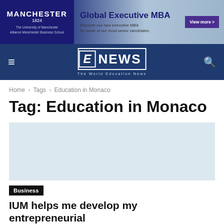[Figure (screenshot): Manchester 1824 Alliance Manchester Business School advertisement banner for Global Executive MBA]
[Figure (logo): E-NEWS The World Education News navigation bar with hamburger menu and search icon]
Home › Tags › Education in Monaco
Tag: Education in Monaco
[Figure (photo): Article image placeholder (light blue-gray area)]
Business
IUM helps me develop my entrepreneurial